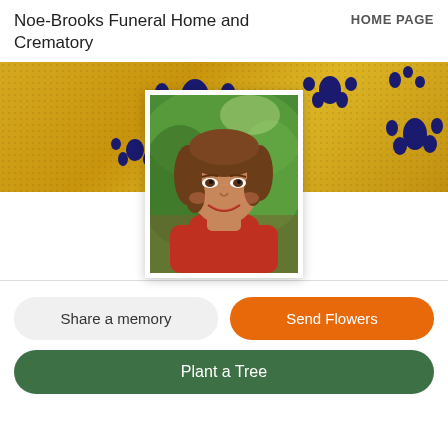Noe-Brooks Funeral Home and Crematory | HOME PAGE
[Figure (photo): Golden/yellow textured banner with dark navy blue paw print decorations across the width, with a portrait photo of a smiling older woman with brown hair wearing a red top, set against a green outdoor background, displayed in a white-bordered frame centered over the banner.]
Share a memory
Send Flowers
Plant a Tree